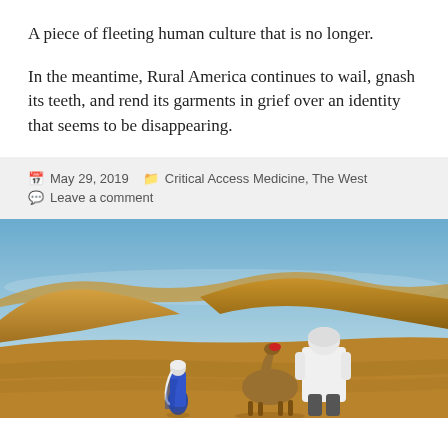A piece of fleeting human culture that is no longer.
In the meantime, Rural America continues to wail, gnash its teeth, and rend its garments in grief over an identity that seems to be disappearing.
May 29, 2019   Critical Access Medicine, The West
Leave a comment
[Figure (photo): Two people in a desert landscape with sand dunes. One person dressed in blue robes stands on the ground, another sits on a camel wearing white clothing and a white helmet, viewed from behind.]